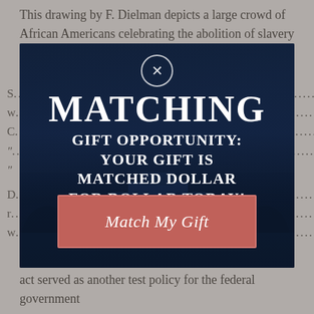This drawing by F. Dielman depicts a large crowd of African Americans celebrating the abolition of slavery in Washington, D.C. on
[Figure (infographic): Matching gift opportunity modal overlay on a dark blue background showing the White House at night. Contains a close (X) button at top, large text reading 'MATCHING GIFT OPPORTUNITY: YOUR GIFT IS MATCHED DOLLAR FOR DOLLAR TODAY!' and a salmon/red 'Match My Gift' call-to-action button.]
act served as another test policy for the federal government